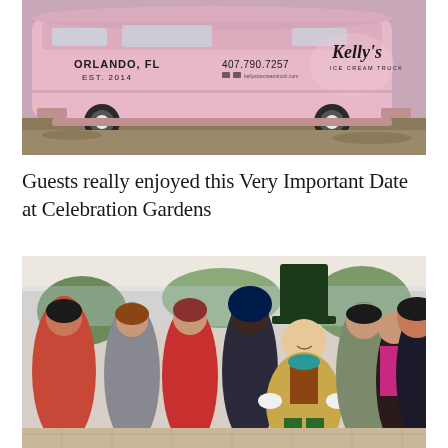[Figure (photo): A pink vintage-style food truck with 'ORLANDO, FL EST. 2014' and phone number '407.790.7257' printed on the side, along with Kelly's logo script on the right panel.]
Guests really enjoyed this Very Important Date at Celebration Gardens
[Figure (photo): Group photo of guests at an event at Celebration Gardens. Center of the group features a person dressed as the Mad Hatter from Alice in Wonderland, wearing a large dark green hat, teal bow tie, and tan coat. Guests are smiling and posing together under a tent, with trees visible in the background.]